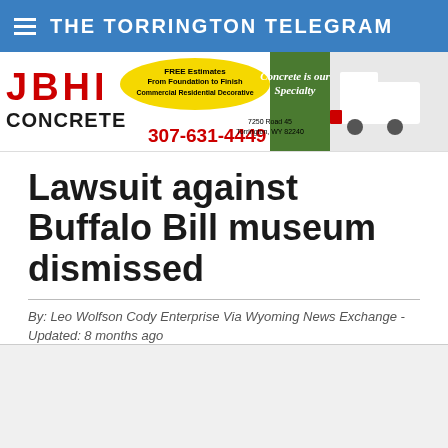THE TORRINGTON TELEGRAM
[Figure (other): JBHI Concrete advertisement banner. Red bold letters 'J B H I' and 'CONCRETE', yellow oval with 'FREE Estimates From Foundation to Finish Commercial Residential Decorative', cursive text 'Concrete is our Specialty', red phone number '307-631-4449', address '7250 Road 45 Torrington, WY 82240', and a white truck on the right.]
Lawsuit against Buffalo Bill museum dismissed
By: Leo Wolfson Cody Enterprise Via Wyoming News Exchange - Updated: 8 months ago
Posted Dec 23, 2021